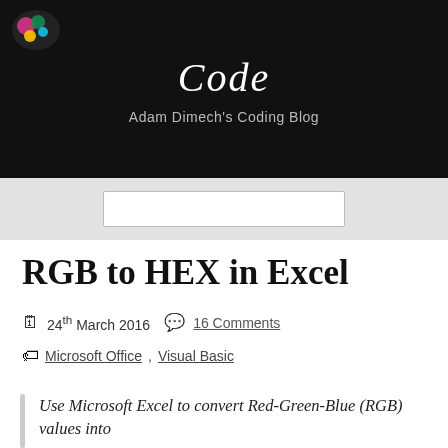Code — Adam Dimech's Coding Blog
RGB to HEX in Excel
📅 24th March 2016 💬 16 Comments
🏷 Microsoft Office, Visual Basic
Use Microsoft Excel to convert Red-Green-Blue (RGB) values into…